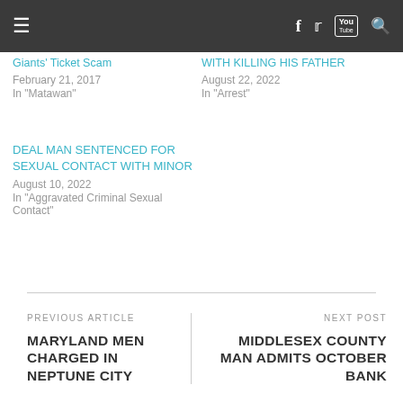Navigation bar with menu, Facebook, Twitter, YouTube, Search icons
Giants' Ticket Scam
February 21, 2017
In "Matawan"
WITH KILLING HIS FATHER
August 22, 2022
In "Arrest"
DEAL MAN SENTENCED FOR SEXUAL CONTACT WITH MINOR
August 10, 2022
In "Aggravated Criminal Sexual Contact"
PREVIOUS ARTICLE
MARYLAND MEN CHARGED IN NEPTUNE CITY
NEXT POST
MIDDLESEX COUNTY MAN ADMITS OCTOBER BANK